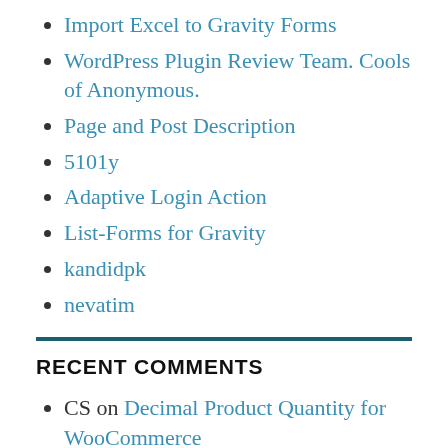Import Excel to Gravity Forms
WordPress Plugin Review Team. Cools of Anonymous.
Page and Post Description
5101y
Adaptive Login Action
List-Forms for Gravity
kandidpk
nevatim
RECENT COMMENTS
CS on Decimal Product Quantity for WooCommerce